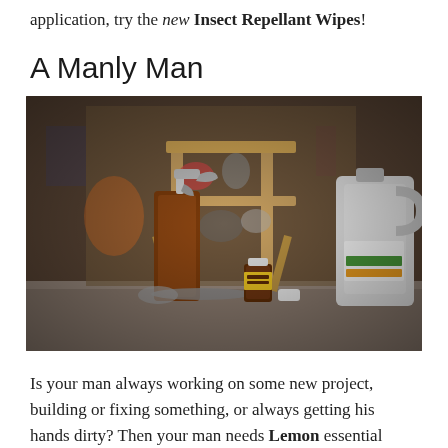application, try the new Insect Repellant Wipes!
A Manly Man
[Figure (photo): Garage workshop scene with an amber spray bottle on the left, a small essential oil bottle with yellow label in the center, and a large white gallon jug on the right. A wooden sawhorse/shelf stands in the background filled with various items.]
Is your man always working on some new project, building or fixing something, or always getting his hands dirty? Then your man needs Lemon essential